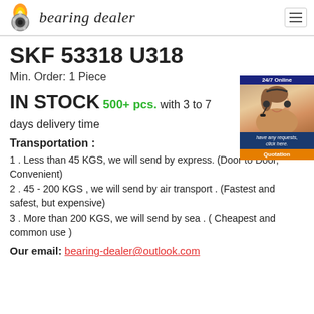bearing dealer
SKF 53318 U318
Min. Order: 1 Piece
IN STOCK 500+ pcs. with 3 to 7 days delivery time
[Figure (photo): Customer service representative with headset, 24/7 Online banner, quotation button advertisement]
Transportation :
1 . Less than 45 KGS, we will send by express. (Door to Door, Convenient)
2 . 45 - 200 KGS , we will send by air transport . (Fastest and safest, but expensive)
3 . More than 200 KGS, we will send by sea . ( Cheapest and common use )
Our email: bearing-dealer@outlook.com